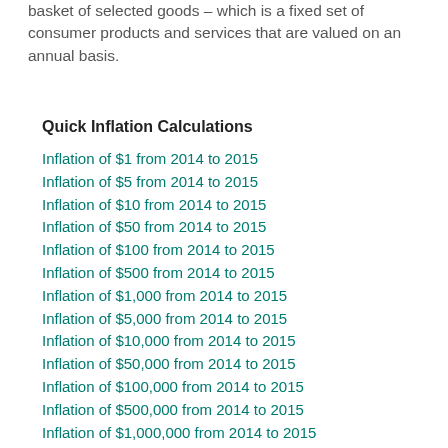basket of selected goods – which is a fixed set of consumer products and services that are valued on an annual basis.
Quick Inflation Calculations
Inflation of $1 from 2014 to 2015
Inflation of $5 from 2014 to 2015
Inflation of $10 from 2014 to 2015
Inflation of $50 from 2014 to 2015
Inflation of $100 from 2014 to 2015
Inflation of $500 from 2014 to 2015
Inflation of $1,000 from 2014 to 2015
Inflation of $5,000 from 2014 to 2015
Inflation of $10,000 from 2014 to 2015
Inflation of $50,000 from 2014 to 2015
Inflation of $100,000 from 2014 to 2015
Inflation of $500,000 from 2014 to 2015
Inflation of $1,000,000 from 2014 to 2015